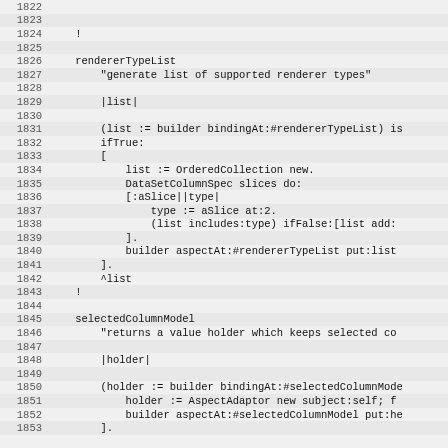[Figure (screenshot): Source code listing in monospace font showing Smalltalk code for rendererTypeList and selectedColumnModel methods, with line numbers 1822–1853 visible on alternating shaded background rows.]